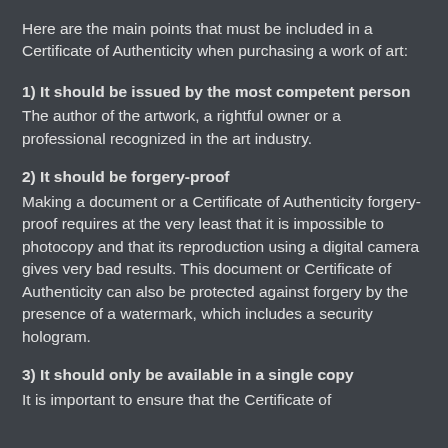Here are the main points that must be included in a Certificate of Authenticity when purchasing a work of art:
1) It should be issued by the most competent person
The author of the artwork, a rightful owner or a professional recognized in the art industry.
2) It should be forgery-proof
Making a document or a Certificate of Authenticity forgery-proof requires at the very least that it is impossible to photocopy and that its reproduction using a digital camera gives very bad results. This document or Certificate of Authenticity can also be protected against forgery by the presence of a watermark, which includes a security hologram.
3) It should only be available in a single copy
It is important to ensure that the Certificate of